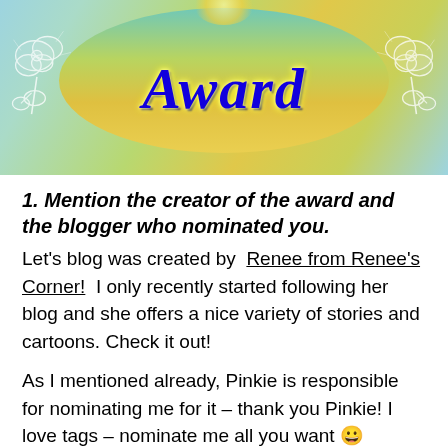[Figure (illustration): Award banner graphic with teal/green/golden oval backdrop, decorative white roses on left and right, and the word 'Award' written in bold italic blue cursive text with yellow glow effect]
1. Mention the creator of the award and the blogger who nominated you.
Let's blog was created by Renee from Renee's Corner!  I only recently started following her blog and she offers a nice variety of stories and cartoons. Check it out!
As I mentioned already, Pinkie is responsible for nominating me for it – thank you Pinkie! I love tags – nominate me all you want 😀